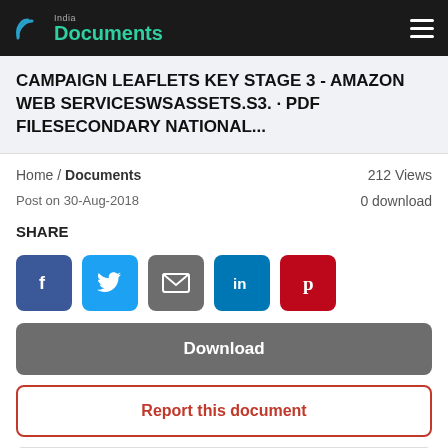India Documents
CAMPAIGN LEAFLETS KEY STAGE 3 - AMAZON WEB SERVICESWSASSETS.S3. · PDF FILESECONDARY NATIONAL...
Home / Documents   212 Views
Post on 30-Aug-2018   0 download
SHARE
[Figure (other): Social share buttons: Facebook, Twitter, Email, LinkedIn, Pinterest]
Download
Report this document
[Figure (other): Document preview toolbar with page navigation controls]